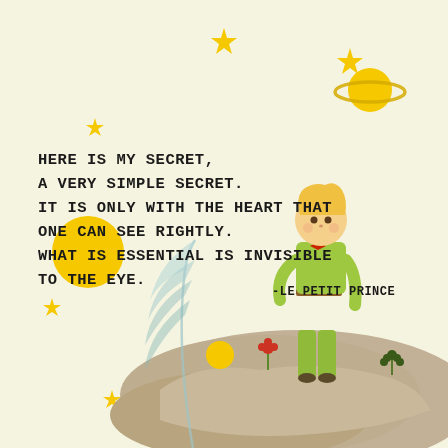[Figure (illustration): Illustration from Le Petit Prince showing the Little Prince standing on a rocky asteroid/planet, wearing a green outfit with a red bow tie and brown belt. He has blonde hair. Around him are yellow stars of various sizes, a large yellow sun/moon on the left, a planet with rings in the upper right, a small red flower, small dark plants, and a large feather-like plant form behind him. The background is cream/off-white. Text overlaid with the famous quote.]
HERE IS MY SECRET, A VERY SIMPLE SECRET. IT IS ONLY WITH THE HEART THAT ONE CAN SEE RIGHTLY. WHAT IS ESSENTIAL IS INVISIBLE TO THE EYE.
-LE PETIT PRINCE